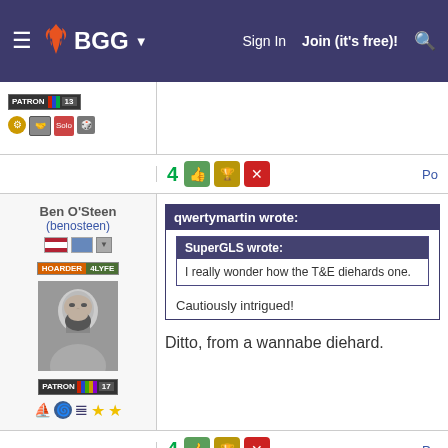BGG navigation bar — Sign In, Join (it's free)!
[Figure (screenshot): User patron badge with colorful stripes and icons]
4 [reaction buttons] Po
Ben O'Steen
(benosteen)
[Figure (photo): Black and white photo of a bearded man with HOARDER 4LYFE badge and PATRON badge with number 17]
qwertymartin wrote:
SuperGLS wrote:
I really wonder how the T&E diehards one.
Cautiously intrigued!
Ditto, from a wannabe diehard.
4 [reaction buttons] Po
Dave Richards